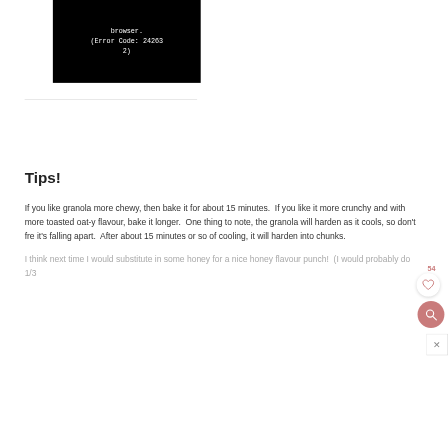[Figure (screenshot): Black video player area showing error text: 'browser. (Error Code: 242632)']
Tips!
If you like granola more chewy, then bake it for about 15 minutes.  If you like it more crunchy and with more toasted oat-y flavour, bake it longer.  One thing to note, the granola will harden as it cools, so don't fre it's falling apart.  After about 15 minutes or so of cooling, it will harden into chunks.
I think next time I would substitute in some honey for a nice honey flavour punch!  (I would probably do 1/3